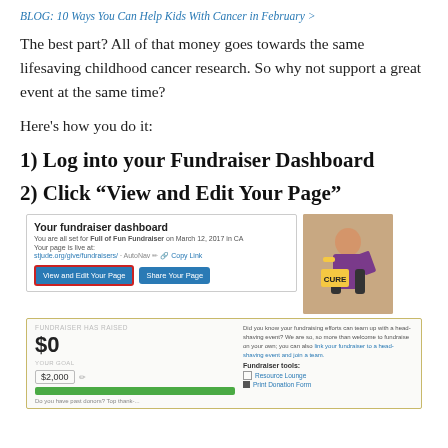BLOG: 10 Ways You Can Help Kids With Cancer in February >
The best part? All of that money goes towards the same lifesaving childhood cancer research. So why not support a great event at the same time?
Here's how you do it:
1) Log into your Fundraiser Dashboard
2) Click “View and Edit Your Page”
[Figure (screenshot): Fundraiser dashboard screenshot showing 'View and Edit Your Page' button circled in red, with a photo of a person holding a yellow CURE sign.]
[Figure (screenshot): Lower portion of fundraiser dashboard showing $0 raised, $2,000 goal, progress bar, and fundraiser tools including Resource Lounge and Print Donation Form.]